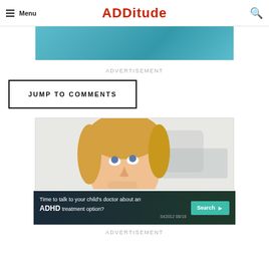Menu | ADDitude
[Figure (photo): Top portion of a photo showing people in teal/blue clothing, partially cropped]
ADVERTISEMENT
JUMP TO COMMENTS
[Figure (photo): Young blonde girl looking up thoughtfully with hand on chin, light background]
[Figure (infographic): Advertisement banner: Time to talk to your child's doctor about an ADHD treatment option? Search. S42012 08/18]
ADVERTISEMENT